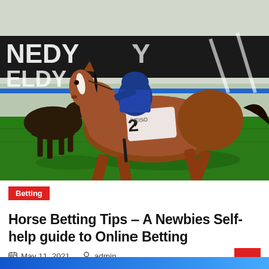[Figure (photo): Horse race photo showing a brown horse with blue-uniformed jockey wearing number 2 (PEISO visible on saddle cloth) galloping on green grass track, with advertising boards in background showing partial text 'NEDY/ELDY'. Another horse visible on the left.]
Betting
Horse Betting Tips – A Newbies Self-help guide to Online Betting
May 11, 2021   admin